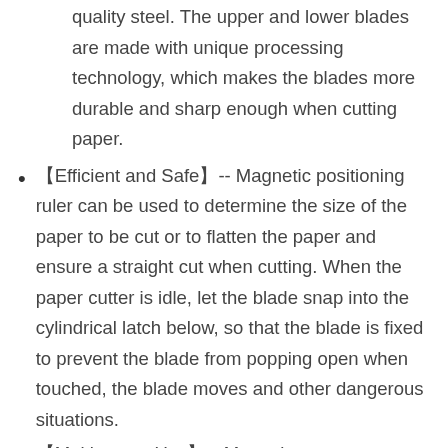quality steel. The upper and lower blades are made with unique processing technology, which makes the blades more durable and sharp enough when cutting paper.
【Efficient and Safe】-- Magnetic positioning ruler can be used to determine the size of the paper to be cut or to flatten the paper and ensure a straight cut when cutting. When the paper cutter is idle, let the blade snap into the cylindrical latch below, so that the blade is fixed to prevent the blade from popping open when touched, the blade moves and other dangerous situations.
【Multi-scene Use】-- Manual paper cutter without power supply can meet various cutting requirements, such as paper, photos, pictures...